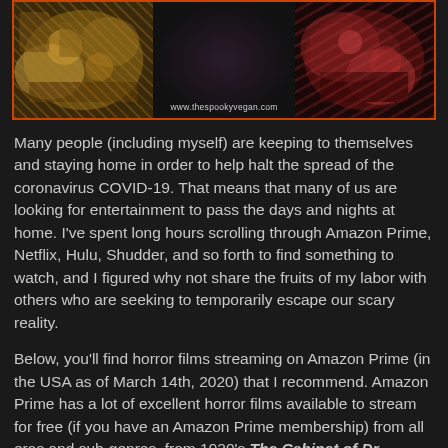[Figure (photo): Banner image from www.thespookyvegan.com showing three panels: left panel with golden/orange horror imagery, center panel showing a woman's face with the website URL, right panel showing dark red horror imagery]
Many people (including myself) are keeping to themselves and staying home in order to help halt the spread of the coronavirus COVID-19. That means that many of us are looking for entertainment to pass the days and nights at home. I've spent long hours scrolling through Amazon Prime, Netflix, Hulu, Shudder, and so forth to find something to watch, and I figured why not share the fruits of my labor with others who are seeking to temporarily escape our scary reality.
Below, you'll find horror films streaming on Amazon Prime (in the USA as of March 14th, 2020) that I recommend. Amazon Prime has a lot of excellent horror films available to stream for free (if you have an Amazon Prime membership) from all eras and sub-genres, from 1920's The Cabinet of Dr. Caligari to recent films like Midsommar. The films listed below are ones I personally recommend, from silly to gruesome to scary and everything in-between! I've added